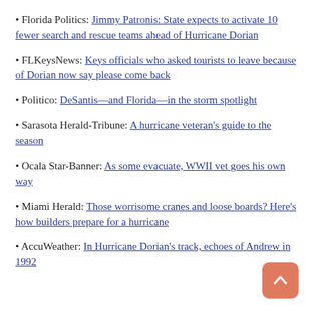• Florida Politics: Jimmy Patronis: State expects to activate 10 fewer search and rescue teams ahead of Hurricane Dorian
• FLKeysNews: Keys officials who asked tourists to leave because of Dorian now say please come back
• Politico: DeSantis—and Florida—in the storm spotlight
• Sarasota Herald-Tribune: A hurricane veteran's guide to the season
• Ocala Star-Banner: As some evacuate, WWII vet goes his own way
• Miami Herald: Those worrisome cranes and loose boards? Here's how builders prepare for a hurricane
• AccuWeather: In Hurricane Dorian's track, echoes of Andrew in 1992